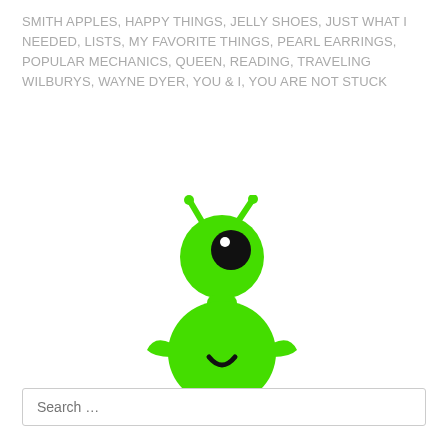SMITH APPLES, HAPPY THINGS, JELLY SHOES, JUST WHAT I NEEDED, LISTS, MY FAVORITE THINGS, PEARL EARRINGS, POPULAR MECHANICS, QUEEN, READING, TRAVELING WILBURYS, WAYNE DYER, YOU & I, YOU ARE NOT STUCK
[Figure (illustration): A cute green cartoon alien/monster character with antennae, one large black eye, small arms on sides, a U-shaped smile, and two stubby legs, rendered in bright lime green on white background.]
Search …